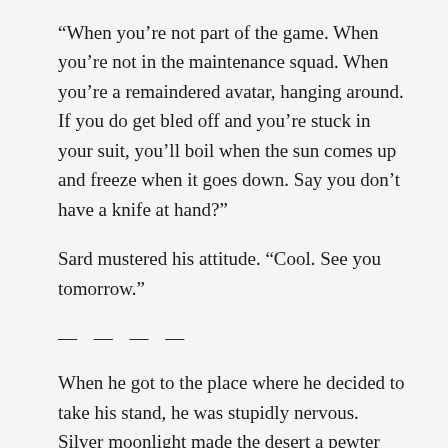“When you’re not part of the game. When you’re not in the maintenance squad. When you’re a remaindered avatar, hanging around. If you do get bled off and you’re stuck in your suit, you’ll boil when the sun comes up and freeze when it goes down. Say you don’t have a knife at hand?”
Sard mustered his attitude. “Cool. See you tomorrow.”
— — — —
When he got to the place where he decided to take his stand, he was stupidly nervous. Silver moonlight made the desert a pewter platter.
< I will smoothe agitation to enable superior continuity. > The suit increased its warmth.
Sard gambolled self-consciously within the triangular pie-